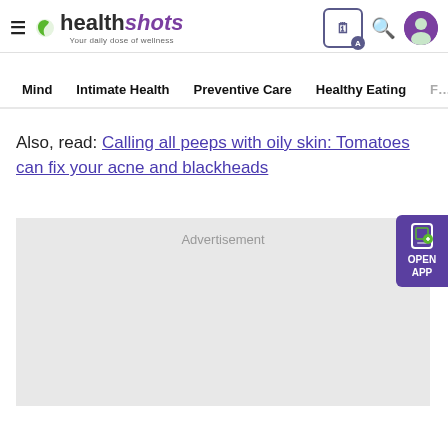healthshots — Your daily dose of wellness
Mind | Intimate Health | Preventive Care | Healthy Eating | F…
Also, read: Calling all peeps with oily skin: Tomatoes can fix your acne and blackheads
[Figure (other): Advertisement placeholder box (gray background)]
[Figure (other): Open App button — purple rounded rectangle with tablet icon, text OPEN APP]